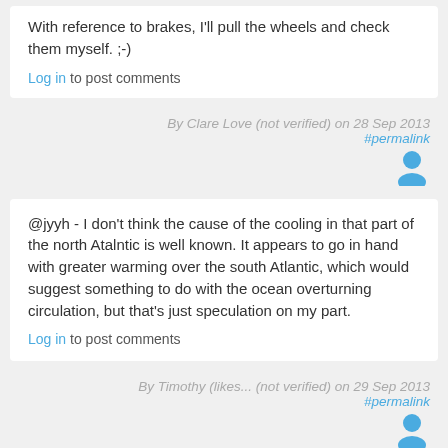With reference to brakes, I'll pull the wheels and check them myself. ;-)
Log in to post comments
By Clare Love (not verified) on 28 Sep 2013
#permalink
@jyyh - I don't think the cause of the cooling in that part of the north Atalntic is well known. It appears to go in hand with greater warming over the south Atlantic, which would suggest something to do with the ocean overturning circulation, but that's just speculation on my part.
Log in to post comments
By Timothy (likes... (not verified) on 29 Sep 2013
#permalink